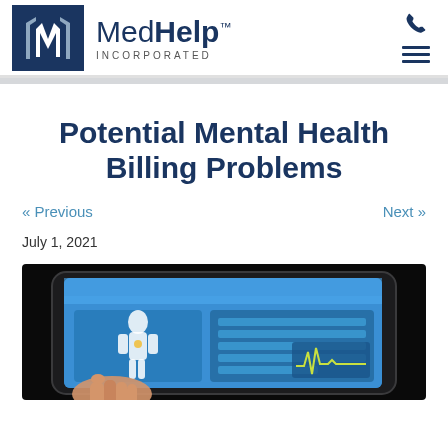[Figure (logo): MedHelp Incorporated logo with blue square icon and brand name]
Potential Mental Health Billing Problems
« Previous
Next »
July 1, 2021
[Figure (illustration): Illustration of a tablet computer showing a medical app with a human body outline, health data, and a vital signs graph; a hand is touching the screen, on a black background]